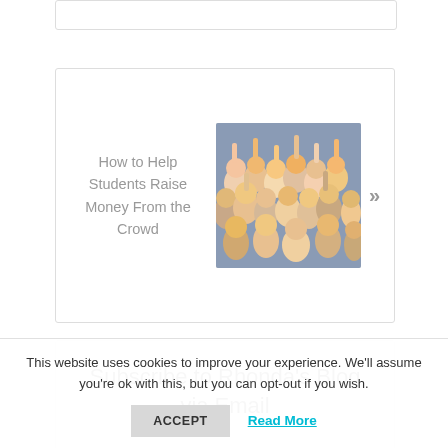How to Help Students Raise Money From the Crowd
[Figure (photo): A crowd of diverse people with hands raised and smiling]
Subscribe to Rhonda's Blog via Email
Email Address
This website uses cookies to improve your experience. We'll assume you're ok with this, but you can opt-out if you wish.
ACCEPT
Read More